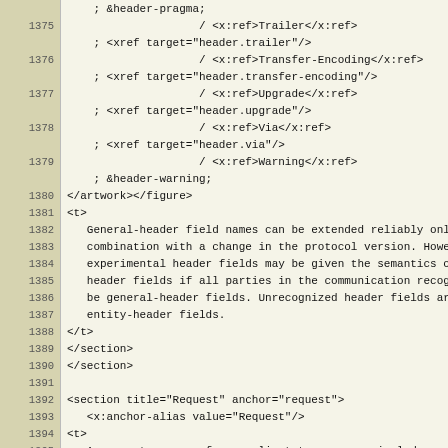|  | ; &header-pragma; |
| 1375 |                     / <x:ref>Trailer</x:ref> |
|  | ; <xref target="header.trailer"/> |
| 1376 |                     / <x:ref>Transfer-Encoding</x:ref> |
|  | ; <xref target="header.transfer-encoding"/> |
| 1377 |                     / <x:ref>Upgrade</x:ref> |
|  | ; <xref target="header.upgrade"/> |
| 1378 |                     / <x:ref>Via</x:ref> |
|  | ; <xref target="header.via"/> |
| 1379 |                     / <x:ref>Warning</x:ref> |
|  | ; &header-warning; |
| 1380 | </artwork></figure> |
| 1381 | <t> |
| 1382 |    General-header field names can be extended reliably only in |
| 1383 |    combination with a change in the protocol version. However, new or |
| 1384 |    experimental header fields may be given the semantics of general |
| 1385 |    header fields if all parties in the communication recognize them to |
| 1386 |    be general-header fields. Unrecognized header fields are treated as |
| 1387 |    entity-header fields. |
| 1388 | </t> |
| 1389 | </section> |
| 1390 | </section> |
| 1391 |  |
| 1392 | <section title="Request" anchor="request"> |
| 1393 |    <x:anchor-alias value="Request"/> |
| 1394 | <t> |
| 1395 |    A request message from a client to a server includes, within the |
| 1396 |    first line of that message, the method to be applied |